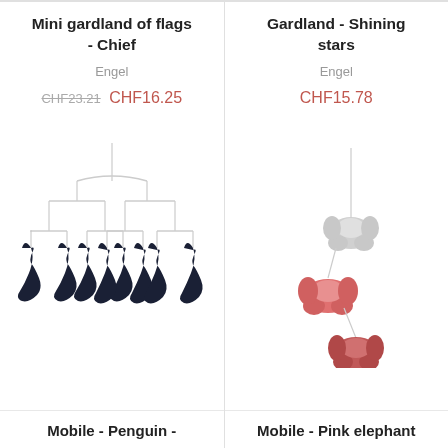Mini gardland of flags - Chief
Engel
CHF23.21 CHF16.25
[Figure (illustration): A mobile with dark bird/penguin figures hanging from white horizontal bars in a tiered structure]
Mobile - Penguin -
Gardland - Shining stars
Engel
CHF15.78
[Figure (illustration): A mobile with pink and grey elephant figures hanging from a white vertical string]
Mobile - Pink elephant